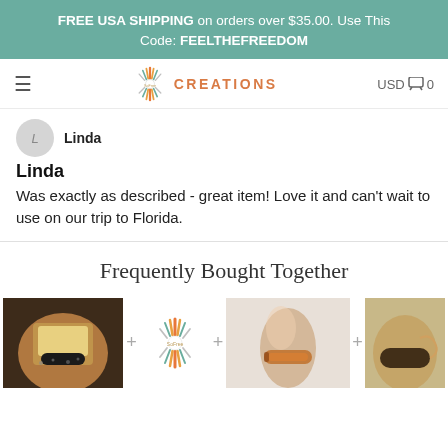FREE USA SHIPPING on orders over $35.00. Use This Code: FEELTHEFREEDOM
[Figure (logo): SoFree Creations logo with starburst/feather design and 'CREATIONS' text in orange]
Linda
Linda
Was exactly as described - great item! Love it and can't wait to use on our trip to Florida.
Frequently Bought Together
[Figure (photo): Three product images shown side by side with plus signs between them, showing bracelets/accessories]
[Figure (logo): SoFree Creations small logo in center between product images]